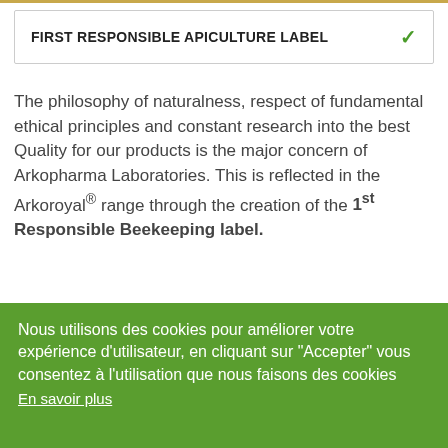FIRST RESPONSIBLE APICULTURE LABEL
The philosophy of naturalness, respect of fundamental ethical principles and constant research into the best Quality for our products is the major concern of Arkopharma Laboratories. This is reflected in the Arkoroyal® range through the creation of the 1st Responsible Beekeeping label.
Nous utilisons des cookies pour améliorer votre expérience d'utilisateur, en cliquant sur "Accepter" vous consentez à l'utilisation que nous faisons des cookies En savoir plus